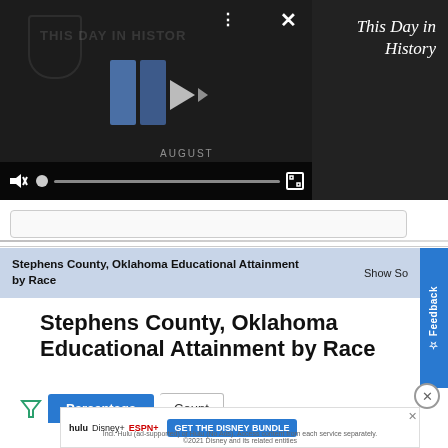[Figure (screenshot): Video player showing 'This Day in History' content with play controls, mute button, progress bar, and fullscreen button. Dark background with NFL-related watermark imagery. 'AUGUST' text visible.]
This Day in History
Stephens County, Oklahoma Educational Attainment by Race
Stephens County, Oklahoma Educational Attainment by Race
Percentage   Count